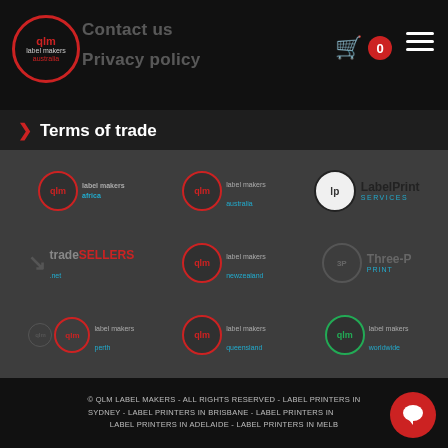QLM Label Makers Australia - Contact us | Privacy policy
Terms of trade
[Figure (logo): Grid of brand logos: QLM Label Makers (multiple regional variants), LabelPrint, TradeSellers, Three-P]
© QLM LABEL MAKERS - ALL RIGHTS RESERVED - LABEL PRINTERS IN SYDNEY - LABEL PRINTERS IN BRISBANE - LABEL PRINTERS IN [PERTH] - LABEL PRINTERS IN ADELAIDE - LABEL PRINTERS IN MELB[OURNE]